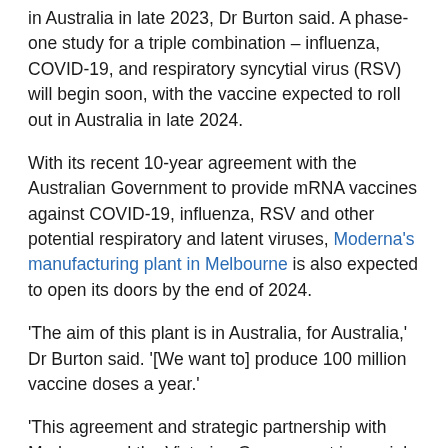in Australia in late 2023, Dr Burton said. A phase-one study for a triple combination – influenza, COVID-19, and respiratory syncytial virus (RSV) will begin soon, with the vaccine expected to roll out in Australia in late 2024.
With its recent 10-year agreement with the Australian Government to provide mRNA vaccines against COVID-19, influenza, RSV and other potential respiratory and latent viruses, Moderna's manufacturing plant in Melbourne is also expected to open its doors by the end of 2024.
'The aim of this plant is in Australia, for Australia,' Dr Burton said. '[We want to] produce 100 million vaccine doses a year.'
'This agreement and strategic partnership with Moderna and the Victorian Government is crucial insurance for the health of the Australian population,' Former Minister for Health Greg Hunt said in March.